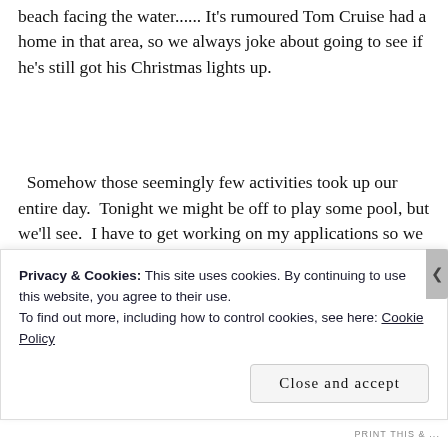beach facing the water...... It's rumoured Tom Cruise had a home in that area, so we always joke about going to see if he's still got his Christmas lights up.
Somehow those seemingly few activities took up our entire day.  Tonight we might be off to play some pool, but we'll see.  I have to get working on my applications so we might be tied up doing that instead.  Anyway, have a good
Privacy & Cookies: This site uses cookies. By continuing to use this website, you agree to their use.
To find out more, including how to control cookies, see here: Cookie Policy
Close and accept